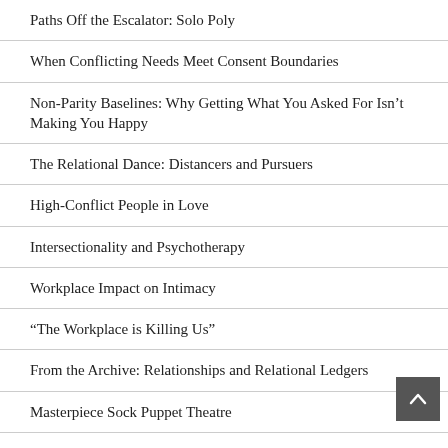Paths Off the Escalator: Solo Poly
When Conflicting Needs Meet Consent Boundaries
Non-Parity Baselines: Why Getting What You Asked For Isn't Making You Happy
The Relational Dance: Distancers and Pursuers
High-Conflict People in Love
Intersectionality and Psychotherapy
Workplace Impact on Intimacy
“The Workplace is Killing Us”
From the Archive: Relationships and Relational Ledgers
Masterpiece Sock Puppet Theatre
Language Lessons: Uncoupling “We”
Riding the Relationship Escalator